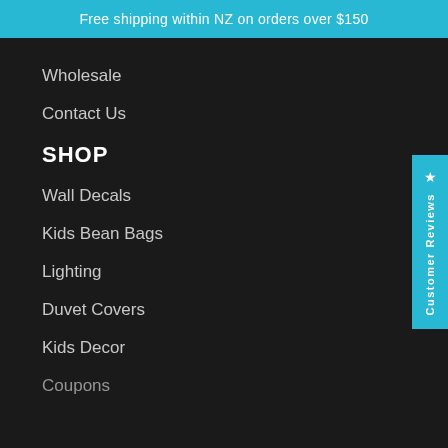Free shipping within NZ on orders over $150
Wholesale
Contact Us
SHOP
Wall Decals
Kids Bean Bags
Lighting
Duvet Covers
Kids Decor
Coupons